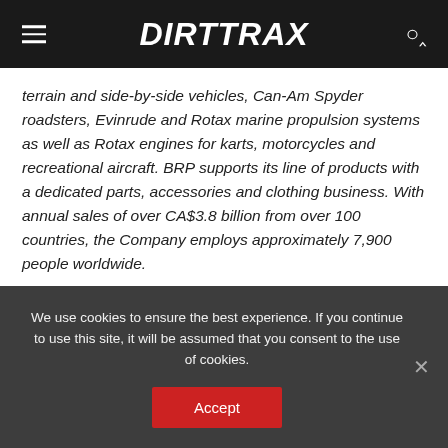DIRTTRAX
terrain and side-by-side vehicles, Can-Am Spyder roadsters, Evinrude and Rotax marine propulsion systems as well as Rotax engines for karts, motorcycles and recreational aircraft. BRP supports its line of products with a dedicated parts, accessories and clothing business. With annual sales of over CA$3.8 billion from over 100 countries, the Company employs approximately 7,900 people worldwide.
brp.com
We use cookies to ensure the best experience. If you continue to use this site, it will be assumed that you consent to the use of cookies.